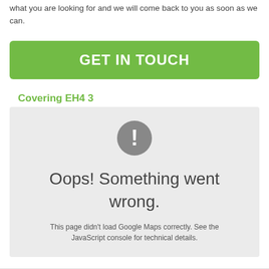what you are looking for and we will come back to you as soon as we can.
GET IN TOUCH
Covering EH4 3
[Figure (screenshot): Google Maps error widget showing a dark circle with exclamation mark, text 'Oops! Something went wrong.' and 'This page didn't load Google Maps correctly. See the JavaScript console for technical details.']